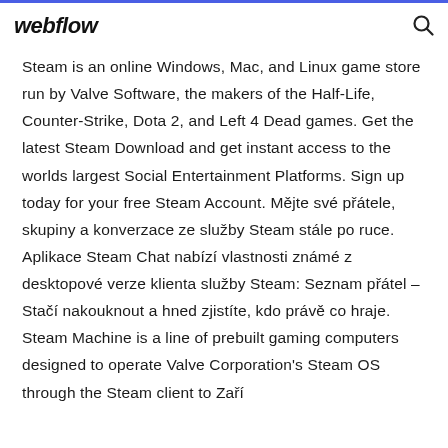webflow
Steam is an online Windows, Mac, and Linux game store run by Valve Software, the makers of the Half-Life, Counter-Strike, Dota 2, and Left 4 Dead games. Get the latest Steam Download and get instant access to the worlds largest Social Entertainment Platforms. Sign up today for your free Steam Account. Mějte své přátele, skupiny a konverzace ze služby Steam stále po ruce. Aplikace Steam Chat nabízí vlastnosti známé z desktopové verze klienta služby Steam: Seznam přátel – Stačí nakouknout a hned zjistíte, kdo právě co hraje. Steam Machine is a line of prebuilt gaming computers designed to operate Valve Corporation's Steam OS through the Steam client to Zaří...